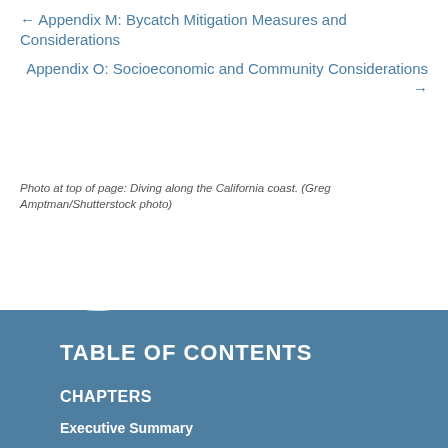← Appendix M: Bycatch Mitigation Measures and Considerations
Appendix O: Socioeconomic and Community Considerations →
Photo at top of page: Diving along the California coast. (Greg Amptman/Shutterstock photo)
TABLE OF CONTENTS
CHAPTERS
Executive Summary